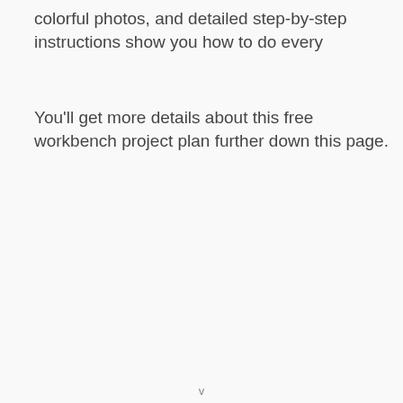colorful photos, and detailed step-by-step instructions show you how to do every
You'll get more details about this free workbench project plan further down this page.
v